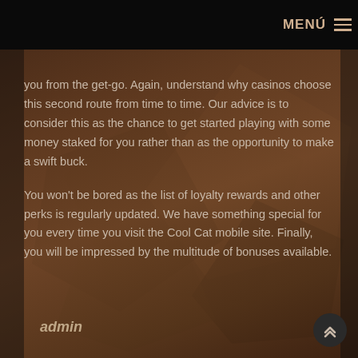MENÚ
you from the get-go. Again, understand why casinos choose this second route from time to time. Our advice is to consider this as the chance to get started playing with some money staked for you rather than as the opportunity to make a swift buck.
You won't be bored as the list of loyalty rewards and other perks is regularly updated. We have something special for you every time you visit the Cool Cat mobile site. Finally, you will be impressed by the multitude of bonuses available.
admin